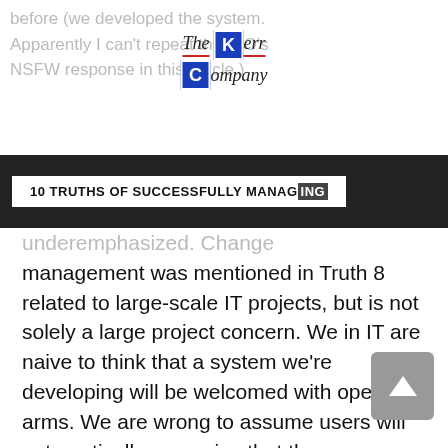before (we developed the system. Apparently I can't repeat the CIO's NSFW response in this article.)
[Figure (logo): The Kerr Company logo with blue K and C boxes]
10 TRUTHS OF SUCCESSFULLY MANAGING
underemphasized. Change management was mentioned in Truth 8 related to large-scale IT projects, but is not solely a large project concern. We in IT are naive to think that a system we're developing will be welcomed with open arms. We are wrong to assume users will automatically recognize that the new system is better than the old one and that the change is good (ever try to convince your elderly parent the benefits of an iPhone and texting?). We fail to understand “fantasies of punishment,” a concept a graduate professor of mine taught our class: People don't automatically fear change;